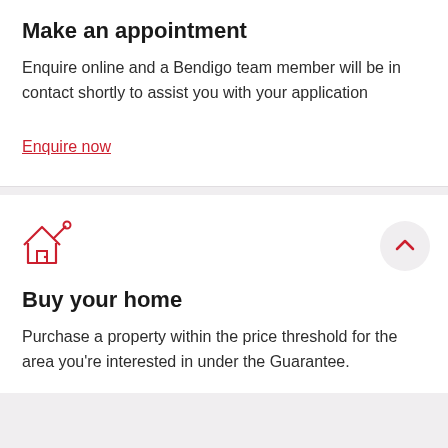Make an appointment
Enquire online and a Bendigo team member will be in contact shortly to assist you with your application
Enquire now
[Figure (illustration): Red outline icon of a house with a key/flag]
Buy your home
Purchase a property within the price threshold for the area you're interested in under the Guarantee.